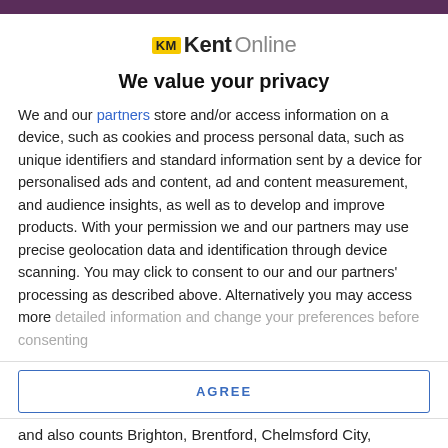[Figure (logo): KM KentOnline logo with yellow KM badge and Kent in bold black, Online in light grey]
We value your privacy
We and our partners store and/or access information on a device, such as cookies and process personal data, such as unique identifiers and standard information sent by a device for personalised ads and content, ad and content measurement, and audience insights, as well as to develop and improve products. With your permission we and our partners may use precise geolocation data and identification through device scanning. You may click to consent to our and our partners' processing as described above. Alternatively you may access more detailed information and change your preferences before consenting
AGREE
MORE OPTIONS
and also counts Brighton, Brentford, Chelmsford City,